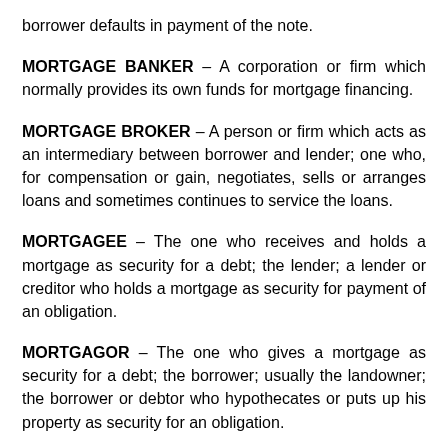borrower defaults in payment of the note.
MORTGAGE BANKER – A corporation or firm which normally provides its own funds for mortgage financing.
MORTGAGE BROKER – A person or firm which acts as an intermediary between borrower and lender; one who, for compensation or gain, negotiates, sells or arranges loans and sometimes continues to service the loans.
MORTGAGEE – The one who receives and holds a mortgage as security for a debt; the lender; a lender or creditor who holds a mortgage as security for payment of an obligation.
MORTGAGOR – The one who gives a mortgage as security for a debt; the borrower; usually the landowner; the borrower or debtor who hypothecates or puts up his property as security for an obligation.